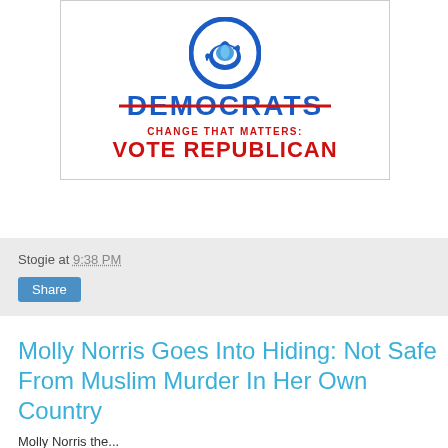[Figure (illustration): Anti-Democrat political image with Democratic Party donkey logo crossed out, text reading 'DEMOCRATS' with a red strikethrough, 'CHANGE THAT MATTERS:' and 'VOTE REPUBLICAN' in red.]
Stogie at 9:38 PM
Share
Molly Norris Goes Into Hiding: Not Safe From Muslim Murder In Her Own Country
Molly Norris the...